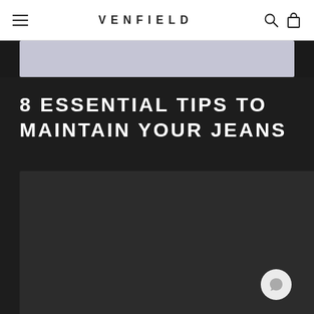VENFIELD
8 ESSENTIAL TIPS TO MAINTAIN YOUR JEANS
[Figure (photo): Dark-toned image placeholder area, partially visible at the bottom of the page, showing a dark grey/charcoal background with a chat bubble icon in the lower right corner.]